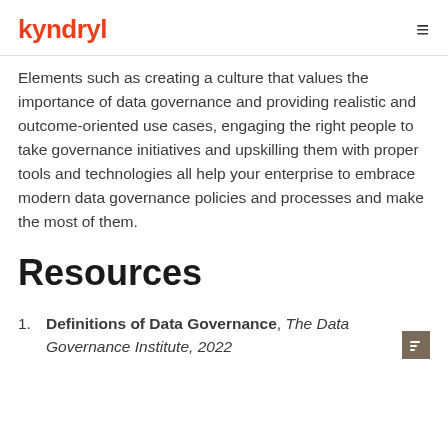kyndryl
Elements such as creating a culture that values the importance of data governance and providing realistic and outcome-oriented use cases, engaging the right people to take governance initiatives and upskilling them with proper tools and technologies all help your enterprise to embrace modern data governance policies and processes and make the most of them.
Resources
Definitions of Data Governance, The Data Governance Institute, 2022